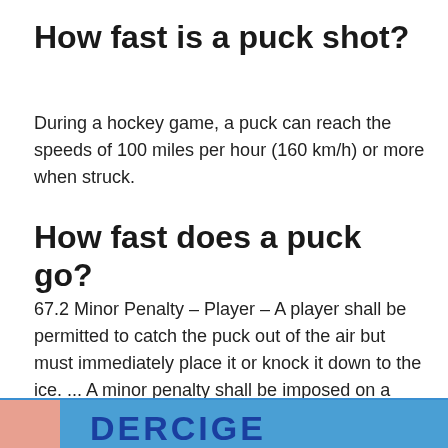How fast is a puck shot?
During a hockey game, a puck can reach the speeds of 100 miles per hour (160 km/h) or more when struck.
How fast does a puck go?
67.2 Minor Penalty – Player – A player shall be permitted to catch the puck out of the air but must immediately place it or knock it down to the ice. ... A minor penalty shall be imposed on a player who, while play is in progress, picks up the puck off the ice with his hand.
[Figure (photo): Partial image of a banner or graphic at the bottom of the page with blue background and large bold text partially visible]